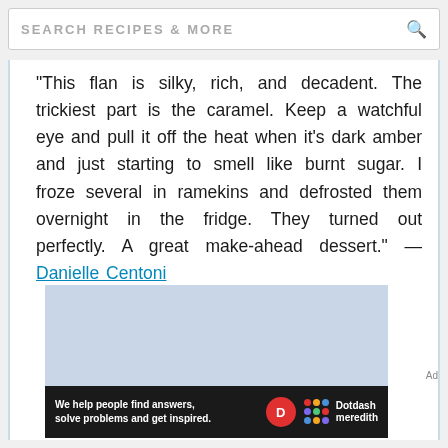SEARCH RECIPES & MORE
"This flan is silky, rich, and decadent. The trickiest part is the caramel. Keep a watchful eye and pull it off the heat when it's dark amber and just starting to smell like burnt sugar. I froze several in ramekins and defrosted them overnight in the fridge. They turned out perfectly. A great make-ahead dessert." —Danielle Centoni
[Figure (photo): Light blue/grey image area, partially visible - appears to be a sky or light background photo]
Ad
We help people find answers, solve problems and get inspired. Dotdash meredith